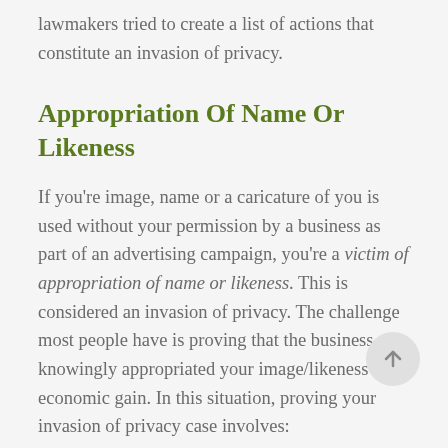lawmakers tried to create a list of actions that constitute an invasion of privacy.
Appropriation Of Name Or Likeness
If you're image, name or a caricature of you is used without your permission by a business as part of an advertising campaign, you're a victim of appropriation of name or likeness. This is considered an invasion of privacy. The challenge most people have is proving that the business knowingly appropriated your image/likeness for economic gain. In this situation, proving your invasion of privacy case involves: